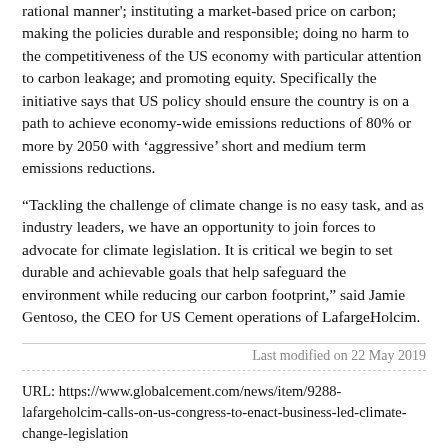rational manner'; instituting a market-based price on carbon; making the policies durable and responsible; doing no harm to the competitiveness of the US economy with particular attention to carbon leakage; and promoting equity. Specifically the initiative says that US policy should ensure the country is on a path to achieve economy-wide emissions reductions of 80% or more by 2050 with 'aggressive' short and medium term emissions reductions.
“Tackling the challenge of climate change is no easy task, and as industry leaders, we have an opportunity to join forces to advocate for climate legislation. It is critical we begin to set durable and achievable goals that help safeguard the environment while reducing our carbon footprint,” said Jamie Gentoso, the CEO for US Cement operations of LafargeHolcim.
Last modified on 22 May 2019
URL: https://www.globalcement.com/news/item/9288-lafargeholcim-calls-on-us-congress-to-enact-business-led-climate-change-legislation
© 2022 Pro Global Media Ltd. All rights reserved.